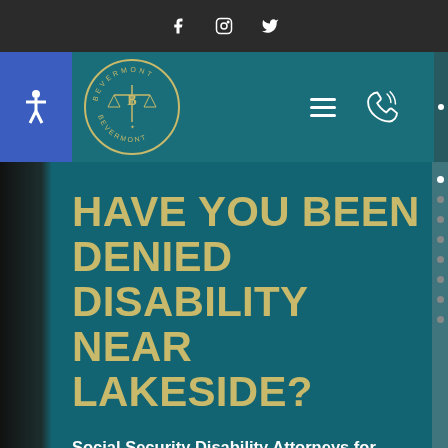Social media icons: Facebook, Instagram, Twitter
[Figure (logo): Bevermont law firm circular gold logo with scales of justice, navigation bar with hamburger menu and phone icon, accessibility icon on blue background]
HAVE YOU BEEN DENIED DISABILITY NEAR LAKESIDE?
Social Security Disability Attorneys for Lakeside, San Diego County – 20648